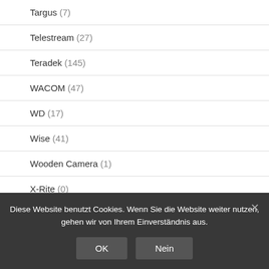Targus (7)
Telestream (27)
Teradek (145)
WACOM (47)
WD (17)
Wise (41)
Wooden Camera (1)
X-Rite (0)
Yamaha (14)
YoloLiv (4)
Brands B…Z (0)
Diese Website benutzt Cookies. Wenn Sie die Website weiter nutzen, gehen wir von Ihrem Einverständnis aus.